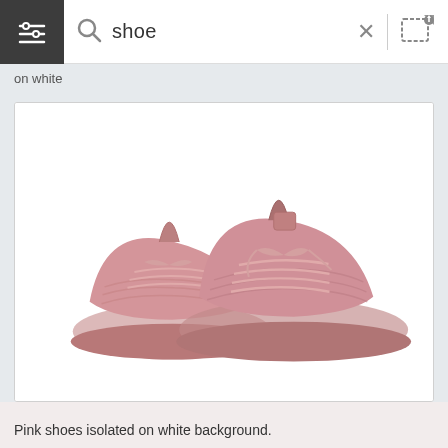shoe
on white
[Figure (photo): Two pink knit sneakers/athletic shoes with laces, isolated on a white background. The shoes are positioned side by side at a slight angle showing both the front and side profile.]
Pink shoes isolated on white background.